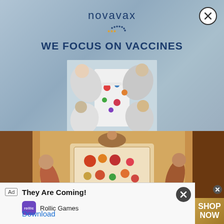[Figure (screenshot): Novavax advertisement. Top section shows a blue-grey gradient background with the Novavax logo (text with dotted circle graphic) and tagline 'WE FOCUS ON VACCINES' in bold dark blue. Below is an overhead/top-down photo of scientists in lab coats working around a white table. Middle section shows an overhead photo of people sitting around a dinner/food table with colorful dishes. Bottom section shows an ad overlay popup for 'They Are Coming!' by Rollic Games with a Download button, plus partial banners for a face/skincare ad and a 'SHOP NOW' clothing ad.]